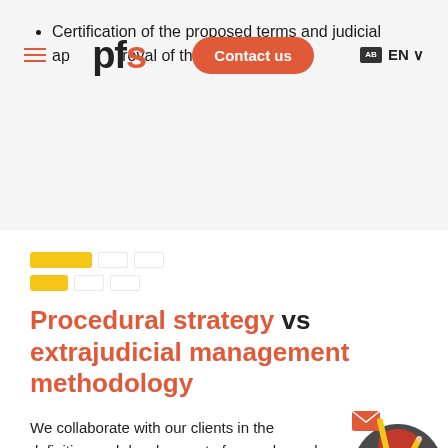Certification of the proposed terms and judicial approval of the agreement
pfs | Contact us | EN
[Figure (illustration): Decorative yellow horizontal bars icon]
Procedural strategy vs extrajudicial management methodology
We collaborate with our clients in the definition and development of procedural strategies and associated processes to optimise the performance of the legal advice
[Figure (illustration): Cartoon character illustration of a woman with red hair, glasses, yellow outfit, holding a letter/envelope, inside a dark circular frame]